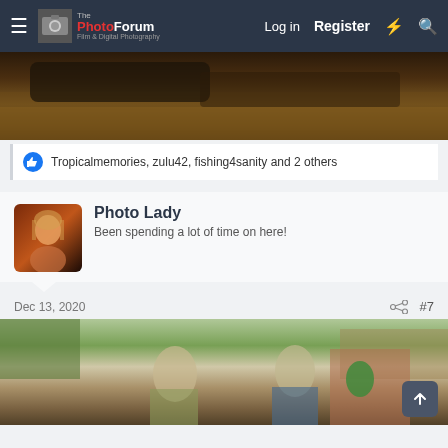The PhotoForum — Log in  Register
[Figure (photo): Partial photo of dark ground/surface, cropped at top]
Tropicalmemories, zulu42, fishing4sanity and 2 others
Photo Lady
Been spending a lot of time on here!
Dec 13, 2020
#7
[Figure (photo): Two men outdoors near trees and a brick building, one wearing a camo jacket, another in a blue jacket, with a green holiday decoration visible]